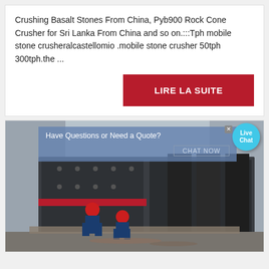Crushing Basalt Stones From China, Pyb900 Rock Cone Crusher for Sri Lanka From China and so on.:::Tph mobile stone crusheralcastellomio .mobile stone crusher 50tph 300tph.the ...
LIRE LA SUITE
[Figure (photo): Industrial machinery photo showing workers in hard hats and blue uniforms working on large dark metal vibrating screen/crusher equipment in a factory setting. A chat overlay banner reads 'Have Questions or Need a Quote?' with a 'CHAT NOW' button, and a Live Chat bubble in the top right corner with a close X button.]